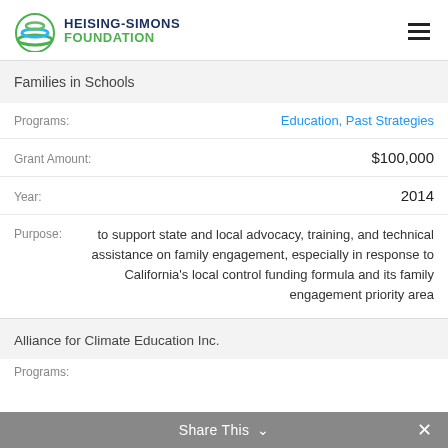HEISING-SIMONS FOUNDATION
Families in Schools
Programs: Education, Past Strategies
Grant Amount: $100,000
Year: 2014
Purpose: to support state and local advocacy, training, and technical assistance on family engagement, especially in response to California's local control funding formula and its family engagement priority area
Alliance for Climate Education Inc.
Programs:
Share This